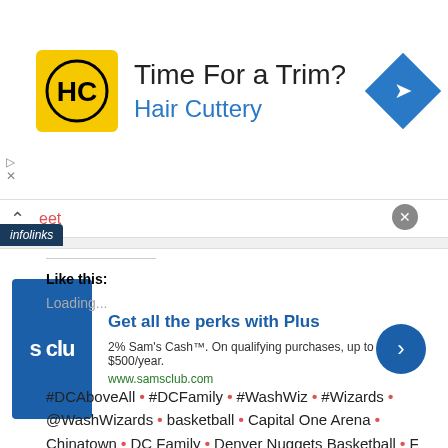[Figure (screenshot): Hair Cuttery advertisement banner with logo, 'Time For a Trim?' headline, 'Hair Cuttery' subtitle in blue, and navigation diamond icon]
eet
Like this:
Loading...
#DCAboveAll • #DCFamily • #WashWiz • #Wizards • @WashWizards • basketball • Capital One Arena • Chinatown • DC Family • Denver Nuggets Basketball • F Street • NBA Basketball • pro basketball • Pro Sports •
[Figure (screenshot): Sam's Club 'Get all the perks with Plus' advertisement. Shows Sam's Club logo, text '2% Sam's Cash™. On qualifying purchases, up to $500/year. www.samsclub.com', with a blue arrow button.]